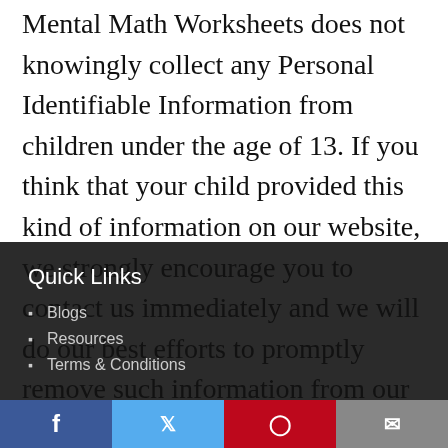Mental Math Worksheets does not knowingly collect any Personal Identifiable Information from children under the age of 13. If you think that your child provided this kind of information on our website, we strongly encourage you to contact us immediately and we will do our best efforts to promptly remove such information from our records.
Quick Links
Blogs
Resources
Terms & Conditions
Facebook | Twitter | Pinterest | Email